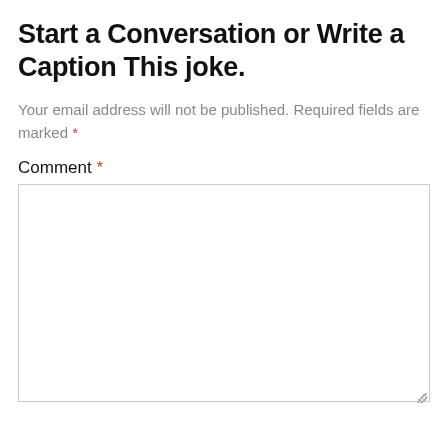Start a Conversation or Write a Caption This joke.
Your email address will not be published. Required fields are marked *
Comment *